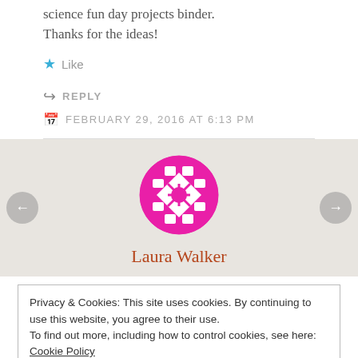science fun day projects binder. Thanks for the ideas!
Like
REPLY
FEBRUARY 29, 2016 AT 6:13 PM
[Figure (logo): Circular magenta decorative logo with geometric pattern]
Laura Walker
Privacy & Cookies: This site uses cookies. By continuing to use this website, you agree to their use.
To find out more, including how to control cookies, see here: Cookie Policy
Close and accept
LIKE